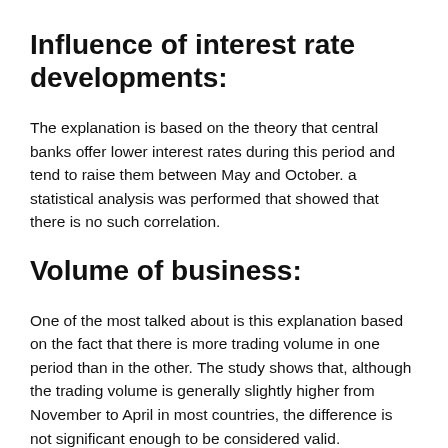Influence of interest rate developments:
The explanation is based on the theory that central banks offer lower interest rates during this period and tend to raise them between May and October. a statistical analysis was performed that showed that there is no such correlation.
Volume of business:
One of the most talked about is this explanation based on the fact that there is more trading volume in one period than in the other. The study shows that, although the trading volume is generally slightly higher from November to April in most countries, the difference is not significant enough to be considered valid.